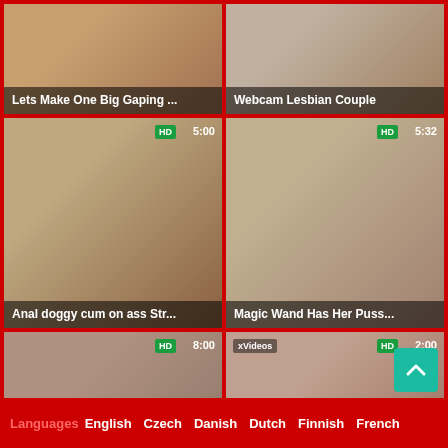[Figure (photo): Video thumbnail: Lets Make One Big Gaping ...]
[Figure (photo): Video thumbnail: Webcam Lesbian Couple]
[Figure (photo): Video thumbnail HD 5:00: Anal doggy cum on ass Str...]
[Figure (photo): Video thumbnail HD 5:32: Magic Wand Has Her Puss...]
[Figure (photo): Video thumbnail HD 8:00: Teen home and naked web...]
[Figure (photo): Video thumbnail xVideos HD 2:00: 2 Anal Sluts Love Cock In T...]
Languages  English  Czech  Danish  Dutch  Finnish  French